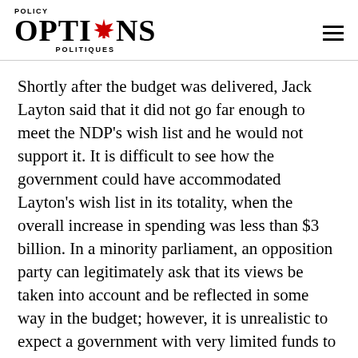POLICY OPTIONS POLITIQUES
Shortly after the budget was delivered, Jack Layton said that it did not go far enough to meet the NDP's wish list and he would not support it. It is difficult to see how the government could have accommodated Layton's wish list in its totality, when the overall increase in spending was less than $3 billion. In a minority parliament, an opposition party can legitimately ask that its views be taken into account and be reflected in some way in the budget; however, it is unrealistic to expect a government with very limited funds to